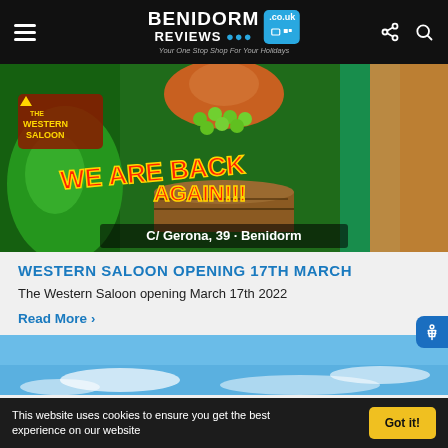BENIDORM REVIEWS .co.uk — Your One Stop Shop For Your Holidays
[Figure (photo): Western Saloon promotional image showing 'WE ARE BACK AGAIN!!!' text in red on green background with barrel, text 'C/ Gerona, 39 · Benidorm' at bottom, Western Saloon logo top left]
WESTERN SALOON OPENING 17TH MARCH
The Western Saloon opening March 17th 2022
Read More
[Figure (photo): Blue sky with clouds — partial image at bottom of page]
This website uses cookies to ensure you get the best experience on our website